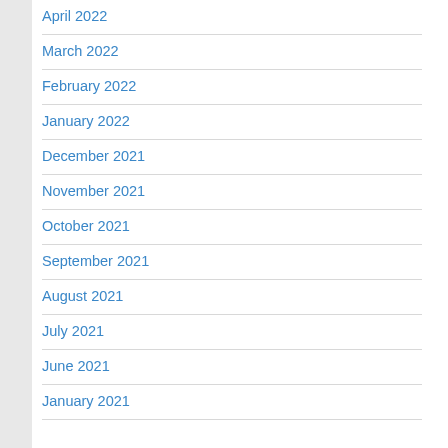April 2022
March 2022
February 2022
January 2022
December 2021
November 2021
October 2021
September 2021
August 2021
July 2021
June 2021
January 2021